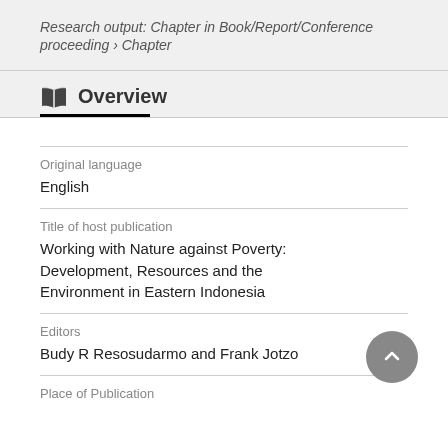Research output: Chapter in Book/Report/Conference proceeding › Chapter
Overview
Original language
English
Title of host publication
Working with Nature against Poverty: Development, Resources and the Environment in Eastern Indonesia
Editors
Budy R Resosudarmo and Frank Jotzo
Place of Publication